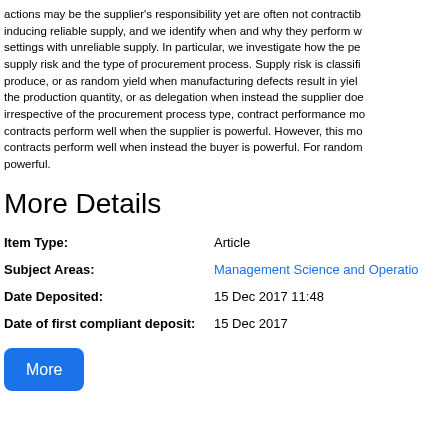actions may be the supplier's responsibility yet are often not contractib inducing reliable supply, and we identify when and why they perform w settings with unreliable supply. In particular, we investigate how the pe supply risk and the type of procurement process. Supply risk is classifi produce, or as random yield when manufacturing defects result in yiel the production quantity, or as delegation when instead the supplier do irrespective of the procurement process type, contract performance mo contracts perform well when the supplier is powerful. However, this m contracts perform well when instead the buyer is powerful. For rando powerful.
More Details
| Item Type: | Article |
| Subject Areas: | Management Science and Operations |
| Date Deposited: | 15 Dec 2017 11:48 |
| Date of first compliant deposit: | 15 Dec 2017 |
More